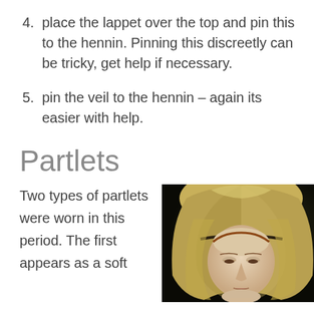4. place the lappet over the top and pin this to the hennin. Pinning this discreetly can be tricky, get help if necessary.
5. pin the veil to the hennin – again its easier with help.
Partlets
Two types of partlets were worn in this period. The first appears as a soft
[Figure (photo): Portrait painting of a woman wearing a light-colored veil or hennin, with a dark background. The woman has pale skin, a serene downward gaze, and reddish hair visible at the forehead. She wears a soft draped veil covering her head.]